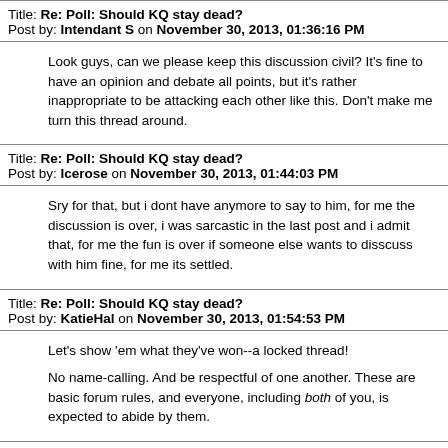Title: Re: Poll: Should KQ stay dead?
Post by: Intendant S on November 30, 2013, 01:36:16 PM
Look guys, can we please keep this discussion civil?  It's fine to have an opinion and debate all points, but it's rather inappropriate to be attacking each other like this.  Don't make me turn this thread around.
Title: Re: Poll: Should KQ stay dead?
Post by: Icerose on November 30, 2013, 01:44:03 PM
Sry for that, but i dont have anymore to say to him, for me the discussion is over, i was sarcastic in the last post and i admit that, for me the fun is over if someone else wants to disscuss with him fine, for me its settled.
Title: Re: Poll: Should KQ stay dead?
Post by: KatieHal on November 30, 2013, 01:54:53 PM
Let's show 'em what they've won--a locked thread!
No name-calling. And be respectful of one another. These are basic forum rules, and everyone, including both of you, is expected to abide by them.
Title: Re: Poll: Should KQ stay dead?